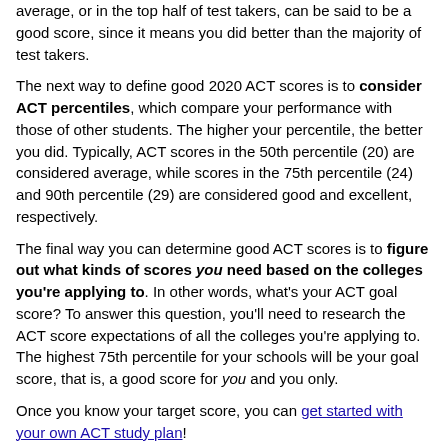average, or in the top half of test takers, can be said to be a good score, since it means you did better than the majority of test takers.
The next way to define good 2020 ACT scores is to consider ACT percentiles, which compare your performance with those of other students. The higher your percentile, the better you did. Typically, ACT scores in the 50th percentile (20) are considered average, while scores in the 75th percentile (24) and 90th percentile (29) are considered good and excellent, respectively.
The final way you can determine good ACT scores is to figure out what kinds of scores you need based on the colleges you're applying to. In other words, what's your ACT goal score? To answer this question, you'll need to research the ACT score expectations of all the colleges you're applying to. The highest 75th percentile for your schools will be your goal score, that is, a good score for you and you only.
Once you know your target score, you can get started with your own ACT study plan!